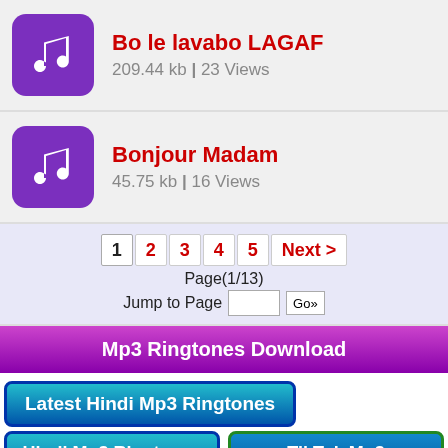Bo le lavabo LAGAF — 209.44 kb | 23 Views
Bonjour Madam — 45.75 kb | 16 Views
1 2 3 4 5 Next > Page(1/13) Jump to Page Go»
Mp3 Ringtones Download
Latest Hindi Mp3 Ringtones
Hindi Mp3 Ringtones
TikTok Mp3 Ringtones